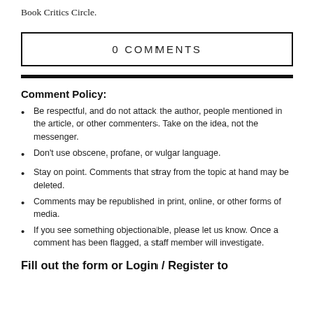Book Critics Circle.
0 COMMENTS
Comment Policy:
Be respectful, and do not attack the author, people mentioned in the article, or other commenters. Take on the idea, not the messenger.
Don't use obscene, profane, or vulgar language.
Stay on point. Comments that stray from the topic at hand may be deleted.
Comments may be republished in print, online, or other forms of media.
If you see something objectionable, please let us know. Once a comment has been flagged, a staff member will investigate.
Fill out the form or Login / Register to